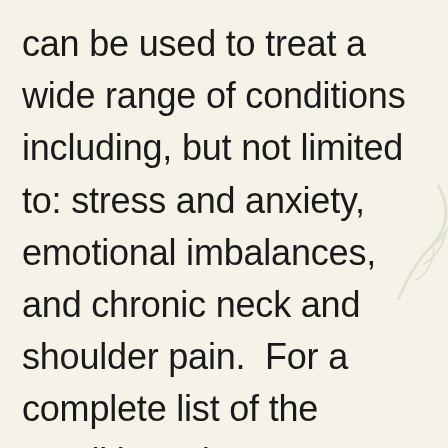can be used to treat a wide range of conditions including, but not limited to: stress and anxiety, emotional imbalances, and chronic neck and shoulder pain.  For a complete list of the conditions that are treated, please visit our Conditions Treated page.